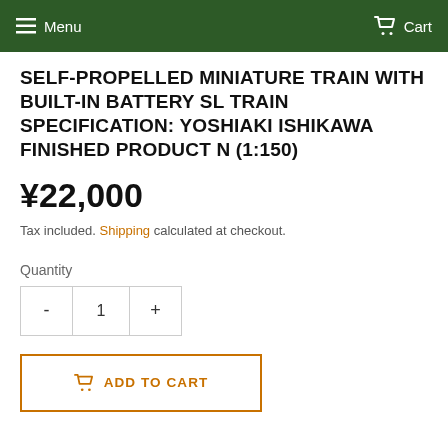Menu  Cart
SELF-PROPELLED MINIATURE TRAIN WITH BUILT-IN BATTERY SL TRAIN SPECIFICATION: YOSHIAKI ISHIKAWA FINISHED PRODUCT N (1:150)
¥22,000
Tax included. Shipping calculated at checkout.
Quantity
1
ADD TO CART